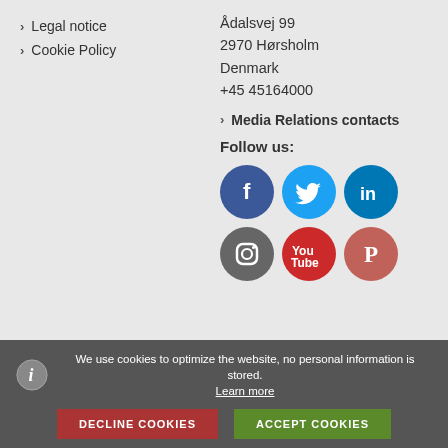› Legal notice
› Cookie Policy
Ådalsvej 99
2970 Hørsholm
Denmark
+45 45164000
› Media Relations contacts
Follow us:
[Figure (illustration): Six social media icons in two rows: Facebook, Twitter, LinkedIn (top row); Instagram, YouTube, Pinterest (bottom row)]
We use cookies to optimize the website, no personal information is stored. Learn more
DECLINE COOKIES
ACCEPT COOKIES